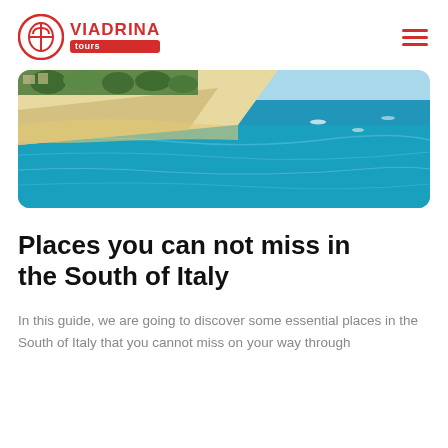VIADRINA Tours
[Figure (photo): Aerial view of a Mediterranean beach in South Italy with turquoise blue water, sandy shore, and coastal vegetation]
Places you can not miss in the South of Italy
In this guide, we are going to discover some essential places in the South of Italy that you cannot miss on your way through